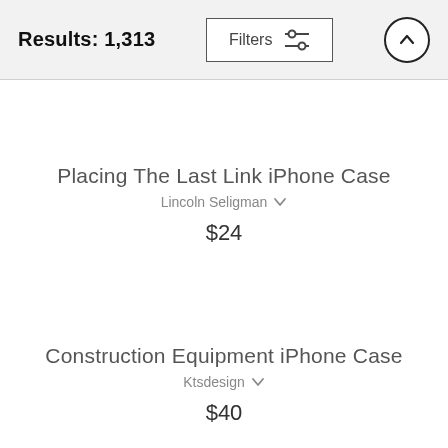Results: 1,313
Placing The Last Link iPhone Case
Lincoln Seligman
$24
Construction Equipment iPhone Case
Ktsdesign
$40